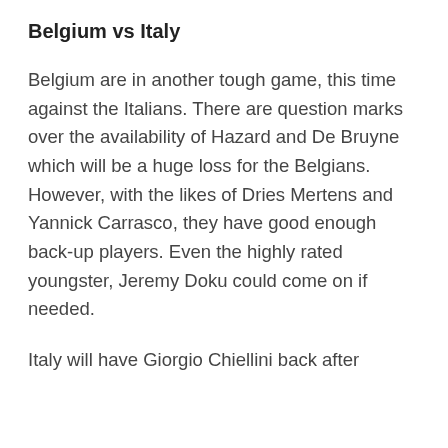Belgium vs Italy
Belgium are in another tough game, this time against the Italians. There are question marks over the availability of Hazard and De Bruyne which will be a huge loss for the Belgians. However, with the likes of Dries Mertens and Yannick Carrasco, they have good enough back-up players. Even the highly rated youngster, Jeremy Doku could come on if needed.
Italy will have Giorgio Chiellini back after